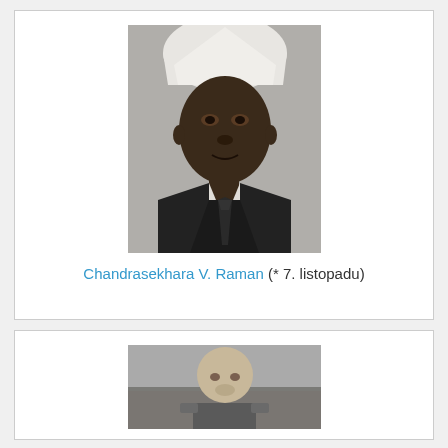[Figure (photo): Black and white portrait photograph of Chandrasekhara V. Raman wearing a white turban and dark suit with tie]
Chandrasekhara V. Raman (* 7. listopadu)
[Figure (photo): Black and white photograph of an older bald man in military uniform]